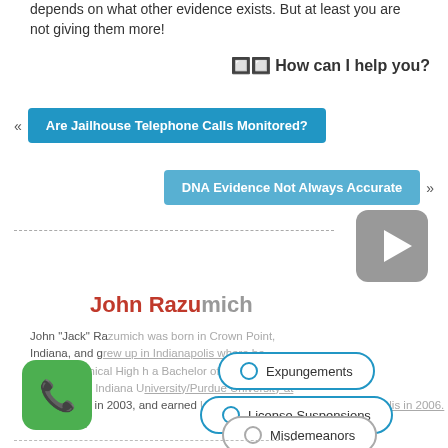depends on what other evidence exists. But at least you are not giving them more!
🔲🔲 How can I help you?
« Are Jailhouse Telephone Calls Monitored?
DNA Evidence Not Always Accurate »
[Figure (other): Gray play button icon]
John Razumich
John "Jack" Razumich was born in Crown Point, Indiana, and grew up in Indianapolis where he Arsenal Technical High School with a Bachelor of History from Indiana University/Purdue University at Indianapolis in 2003, and earned University School of Law – Indianapolis in 2006. Read More
[Figure (other): Green phone call icon button]
○ Expungements
○ License Suspensions
○ Misdemeanors